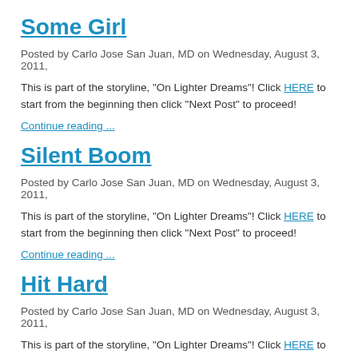Some Girl
Posted by Carlo Jose San Juan, MD on Wednesday, August 3, 2011,
This is part of the storyline, "On Lighter Dreams"!  Click HERE to start from the beginning then click "Next Post" to proceed!
Continue reading ...
Silent Boom
Posted by Carlo Jose San Juan, MD on Wednesday, August 3, 2011,
This is part of the storyline, "On Lighter Dreams"!  Click HERE to start from the beginning then click "Next Post" to proceed!
Continue reading ...
Hit Hard
Posted by Carlo Jose San Juan, MD on Wednesday, August 3, 2011,
This is part of the storyline, "On Lighter Dreams"!  Click HERE to